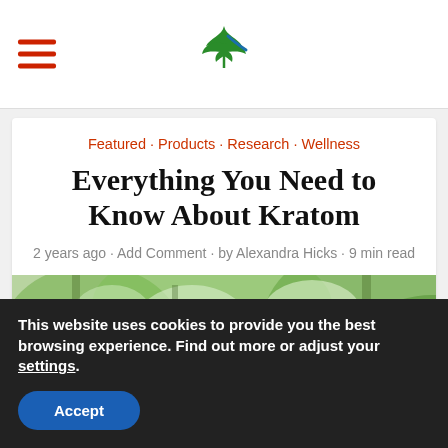Navigation header with hamburger menu and cannabis leaf logo
Featured · Products · Research · Wellness
Everything You Need to Know About Kratom
2 years ago · Add Comment · by Alexandra Hicks · 9 min read
[Figure (photo): Close-up photo of large green tropical leaves (kratom plant) with blurred green foliage background and bright sky]
This website uses cookies to provide you the best browsing experience. Find out more or adjust your settings.
Accept